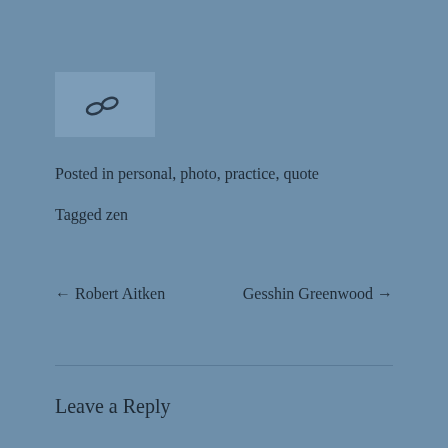[Figure (illustration): Chain link icon inside a light blue rectangle]
Posted in personal, photo, practice, quote
Tagged zen
← Robert Aitken
Gesshin Greenwood →
Leave a Reply